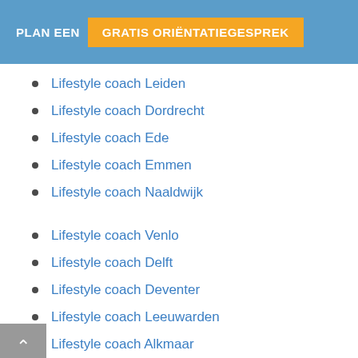PLAN EEN GRATIS ORIËNTATIEGESPREK
Lifestyle coach Leiden
Lifestyle coach Dordrecht
Lifestyle coach Ede
Lifestyle coach Emmen
Lifestyle coach Naaldwijk
Lifestyle coach Venlo
Lifestyle coach Delft
Lifestyle coach Deventer
Lifestyle coach Leeuwarden
Lifestyle coach Alkmaar